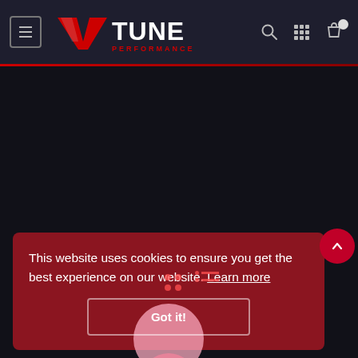[Figure (logo): VTune Performance logo — red stylized V checkmark with white TUNE text and red PERFORMANCE text below]
This website uses cookies to ensure you get the best experience on our website. Learn more
Got it!